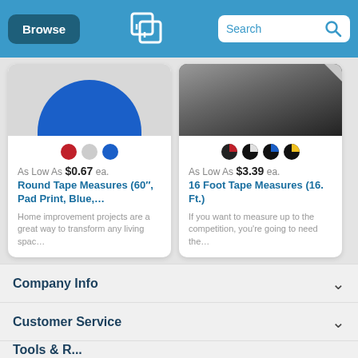Browse | [Logo] | Search
[Figure (screenshot): Product card for Round Tape Measures (60", Pad Print, Blue,...) showing blue half-circle image, color swatches (red, gray, blue), price As Low As $0.67 ea., and description text.]
[Figure (screenshot): Product card for 16 Foot Tape Measures (16. Ft.) showing black tape measure image, color swatches (black/red, black/white, black/blue, black/yellow), price As Low As $3.39 ea., and description text.]
Company Info
Customer Service
Tools & R...